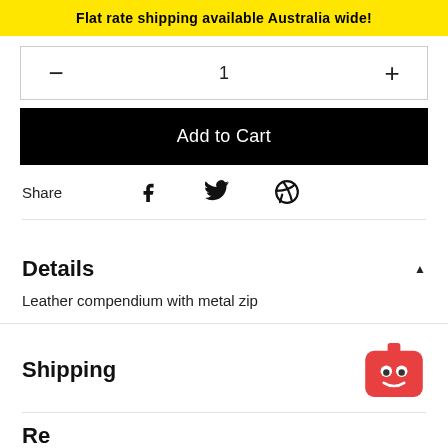Flat rate shipping available Australia wide!
— 1 +
Add to Cart
Share
Details
Leather compendium with metal zip
Shipping
Re...